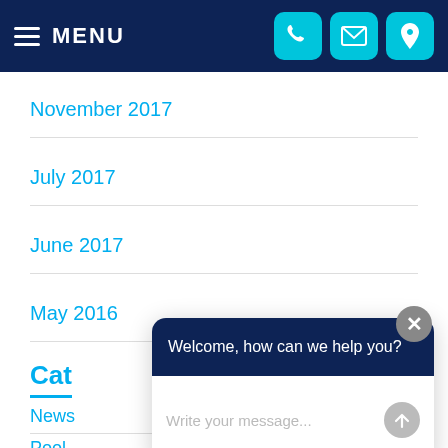MENU
November 2017
July 2017
June 2017
May 2016
Cat
News
Pool
[Figure (screenshot): Chat widget overlay with header 'Welcome, how can we help you?' and input field 'Write your message...' with send button, and a close (X) button.]